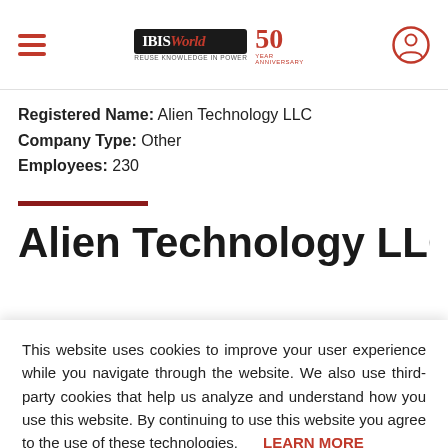IBISWorld 50th Anniversary
Registered Name: Alien Technology LLC
Company Type: Other
Employees: 230
Alien Technology LLC
This website uses cookies to improve your user experience while you navigate through the website. We also use third-party cookies that help us analyze and understand how you use this website. By continuing to use this website you agree to the use of these technologies. LEARN MORE
ACCEPT